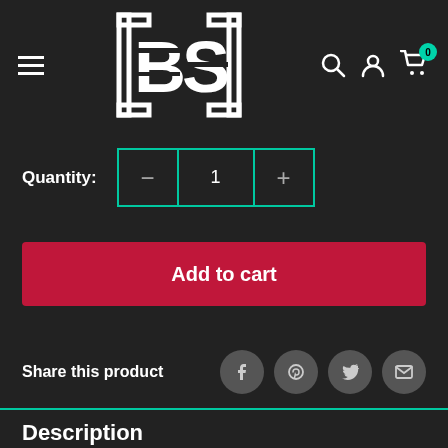[Figure (logo): BS logo in white on dark background with bracket borders]
Quantity: 1
Add to cart
Share this product
Description